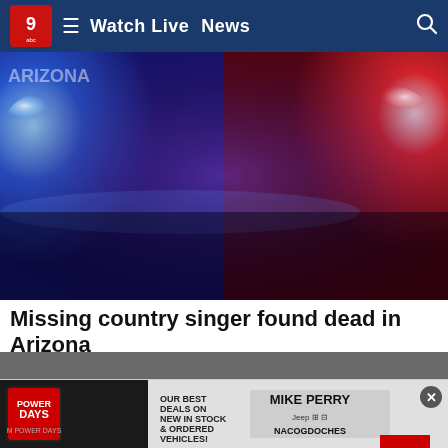Watch Live  News
[Figure (photo): Police car emergency lights, blue and red flashing lights blurred background]
Missing country singer found dead in Arizona
Country artist Luke Bell was found dead in Arizona, authorities confirmed Tuesday.
KTRE
[Figure (photo): Advertisement banner: Mike Perry Power Days - Our best deals on new in stock & ordered vehicles! Nacogdoches]